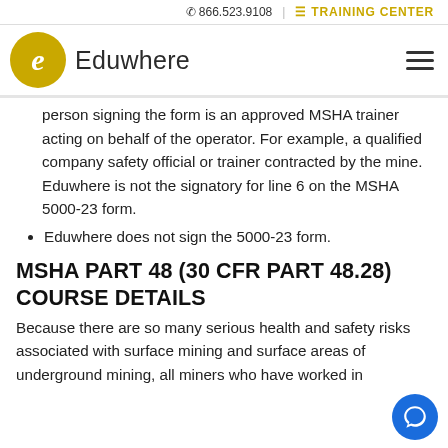866.523.9108 | TRAINING CENTER
Eduwhere
person signing the form is an approved MSHA trainer acting on behalf of the operator. For example, a qualified company safety official or trainer contracted by the mine. Eduwhere is not the signatory for line 6 on the MSHA 5000-23 form.
Eduwhere does not sign the 5000-23 form.
MSHA PART 48 (30 CFR PART 48.28) COURSE DETAILS
Because there are so many serious health and safety risks associated with surface mining and surface areas of underground mining, all miners who have worked in